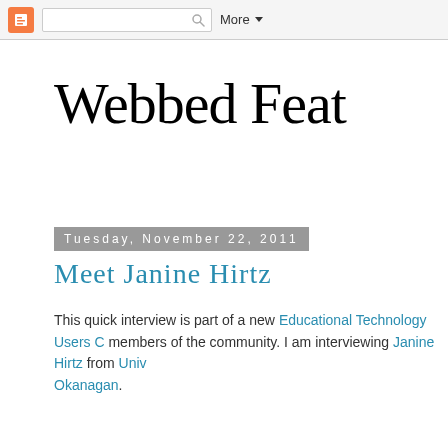Blogger navbar with logo, search bar, and More dropdown
Webbed Feat
Tuesday, November 22, 2011
Meet Janine Hirtz
This quick interview is part of a new Educational Technology Users C... members of the community. I am interviewing Janine Hirtz from Univ... Okanagan.